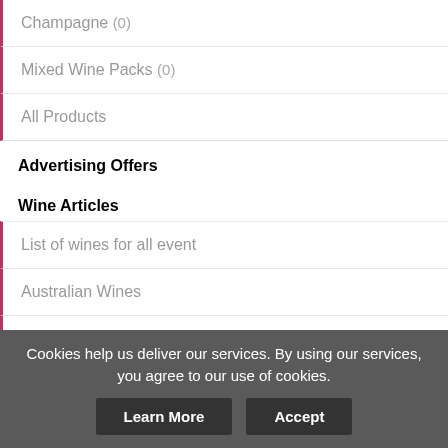Champagne (0)
Mixed Wine Packs (0)
All Products
Advertising Offers
Wine Articles
List of wines for all event
Australian Wines
Making Rosé Wines
Know Your Sort Of Wine
Cookies help us deliver our services. By using our services, you agree to our use of cookies.